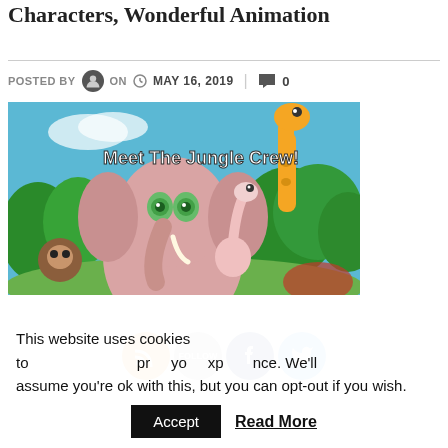Characters, Wonderful Animation
POSTED BY  ON  MAY 16, 2019  |  0
[Figure (illustration): Animated jungle animal characters including a pink elephant, giraffe, ostrich, monkey, and other animals with text 'Meet The Jungle Crew!' on a colorful background.]
This website uses cookies to improve your experience. We'll assume you're ok with this, but you can opt-out if you wish.
Accept  Read More